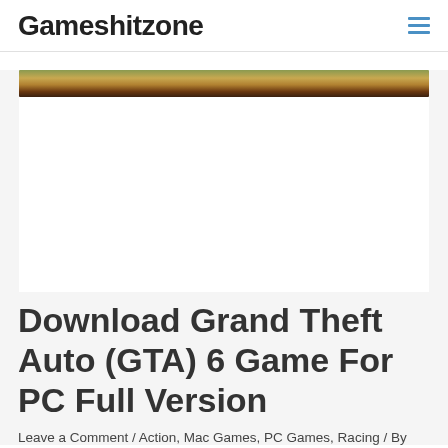Gameshitzone
[Figure (photo): Website banner image showing an outdoor/nature scene with warm tones and a dark brown gradient]
Download Grand Theft Auto (GTA) 6 Game For PC Full Version
Leave a Comment / Action, Mac Games, PC Games, Racing / By